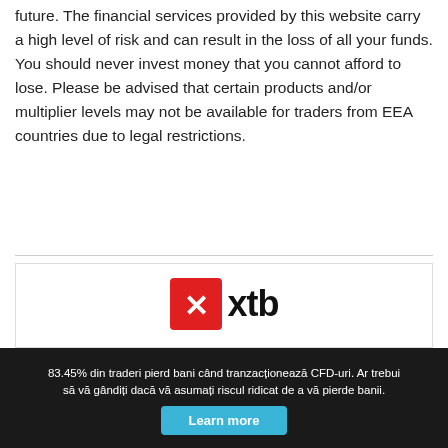future. The financial services provided by this website carry a high level of risk and can result in the loss of all your funds. You should never invest money that you cannot afford to lose. Please be advised that certain products and/or multiplier levels may not be available for traders from EEA countries due to legal restrictions.
[Figure (logo): XTB logo with red square icon containing a white X and the text 'xtb' in bold black]
GHID DE INVESTIȚII LA BURSĂ
83.45% din traderi pierd bani când tranzacționează CFD-uri. Ar trebui să vă gândiți dacă vă asumați riscul ridicat de a vă pierde banii. Learn more